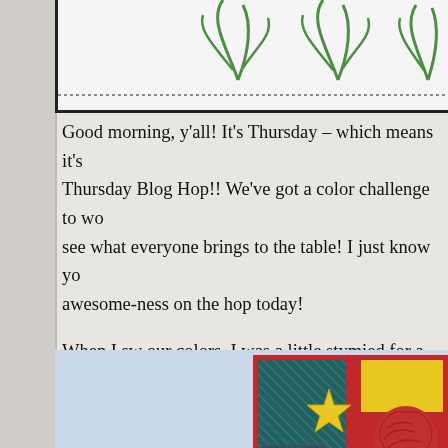[Figure (photo): Top portion of a handmade card with white background, dotted border at bottom, and green palm leaf/branch decorations visible at top]
Good morning, y'all!  It's Thursday – which means it's Thursday Blog Hop!!  We've got a color challenge to wa... see what everyone brings to the table!  I just know yo... awesome-ness on the hop today!
When I sw our colors, I was a little stymied for a mi... telling!  But – my brain finally kicked in and I decided t... go!  And I paired it with some cool and masculine In G...
[Figure (photo): Partial view of a handmade greeting card with teal crosshatch patterned block, yellow block, red mat border, yellow star embellishment, red circle element, and a small dark teal label reading I'M YOUR #1 FAN]